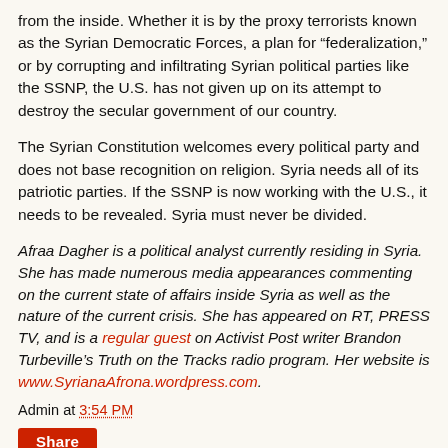from the inside. Whether it is by the proxy terrorists known as the Syrian Democratic Forces, a plan for “federalization,” or by corrupting and infiltrating Syrian political parties like the SSNP, the U.S. has not given up on its attempt to destroy the secular government of our country.
The Syrian Constitution welcomes every political party and does not base recognition on religion. Syria needs all of its patriotic parties. If the SSNP is now working with the U.S., it needs to be revealed. Syria must never be divided.
Afraa Dagher is a political analyst currently residing in Syria. She has made numerous media appearances commenting on the current state of affairs inside Syria as well as the nature of the current crisis. She has appeared on RT, PRESS TV, and is a regular guest on Activist Post writer Brandon Turbeville’s Truth on the Tracks radio program. Her website is www.SyrianaAfrona.wordpress.com.
Admin at 3:54 PM
Share